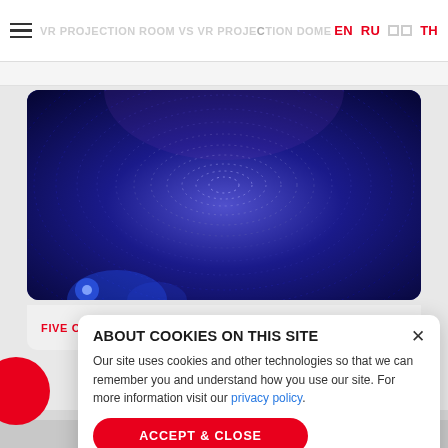VR PROJECTION ROOM VS VR PROJECTION DOME → EN RU TH
[Figure (illustration): Blue dome / tunnel abstract radial rings illustration — deep blue background with concentric dotted/glowing rings converging to a central point, purple hues at top, bright stage lights at bottom]
FIVE OF THE BIGGEST DOME THEATERS →
ABOUT COOKIES ON THIS SITE
Our site uses cookies and other technologies so that we can remember you and understand how you use our site. For more information visit our privacy policy.
ACCEPT & CLOSE